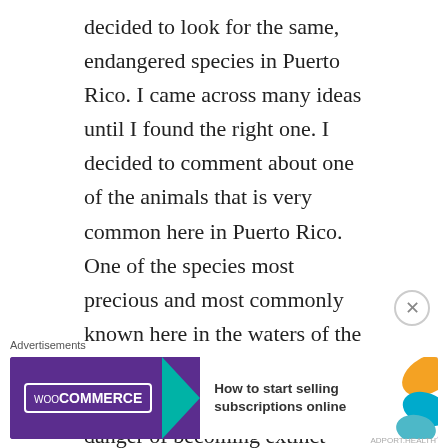decided to look for the same, endangered species in Puerto Rico. I came across many ideas until I found the right one. I decided to comment about one of the animals that is very common here in Puerto Rico. One of the species most precious and most commonly known here in the waters of the Atlantic is the manatee. The manatee is an animal that is in danger of becoming extinct because of motorboats and fishing nets. Although there are reserves in Puerto Rico that help preserve and protect manatees and sea life, this species continues to be at risk. In Puerto Rico there is a very famous
[Figure (other): WooCommerce advertisement banner: purple background with WooCommerce logo, teal arrow, and text 'How to start selling subscriptions online' with orange and blue leaf decorations]